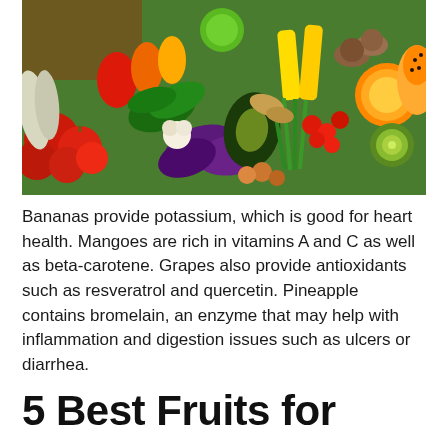[Figure (photo): Overhead flat-lay photo of a colorful assortment of fresh fruits and vegetables including tomatoes, peppers, eggplant, avocado, greens, corn, kiwi, oranges, papaya, mushrooms, garlic, ginger, and other produce.]
Bananas provide potassium, which is good for heart health. Mangoes are rich in vitamins A and C as well as beta-carotene. Grapes also provide antioxidants such as resveratrol and quercetin. Pineapple contains bromelain, an enzyme that may help with inflammation and digestion issues such as ulcers or diarrhea.
5 Best Fruits for